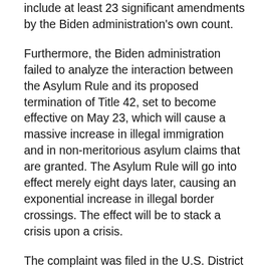include at least 23 significant amendments by the Biden administration's own count.
Furthermore, the Biden administration failed to analyze the interaction between the Asylum Rule and its proposed termination of Title 42, set to become effective on May 23, which will cause a massive increase in illegal immigration and in non-meritorious asylum claims that are granted. The Asylum Rule will go into effect merely eight days later, causing an exponential increase in illegal border crossings. The effect will be to stack a crisis upon a crisis.
The complaint was filed in the U.S. District Court for the Western District of Louisiana. Joining General O'Connor are the Attorneys